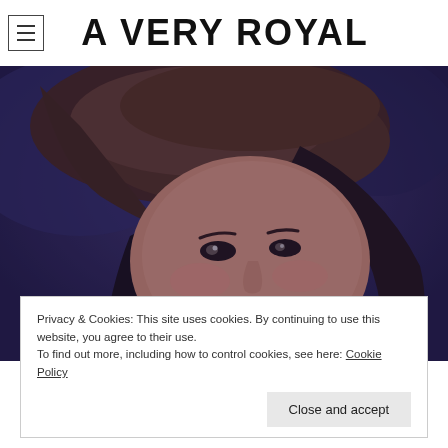A VERY ROYAL
[Figure (photo): Close-up photo of a woman wearing a dark brown hat and smiling, with dark hair. The image has a blue-tinted/cool tone overlay.]
Privacy & Cookies: This site uses cookies. By continuing to use this website, you agree to their use.
To find out more, including how to control cookies, see here: Cookie Policy
Close and accept